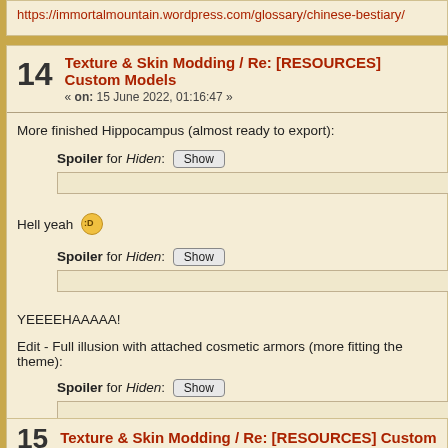https://immortalmountain.wordpress.com/glossary/chinese-bestiary/
14  Texture & Skin Modding / Re: [RESOURCES] Custom Models
« on: 15 June 2022, 01:16:47 »
More finished Hippocampus (almost ready to export):
Spoiler for Hiden: [Show]
Hell yeah 😀
Spoiler for Hiden: [Show]
YEEEEHAAAAA!
Edit - Full illusion with attached cosmetic armors (more fitting the theme):
Spoiler for Hiden: [Show]
15  Texture & Skin Modding / Re: [RESOURCES] Custom Models